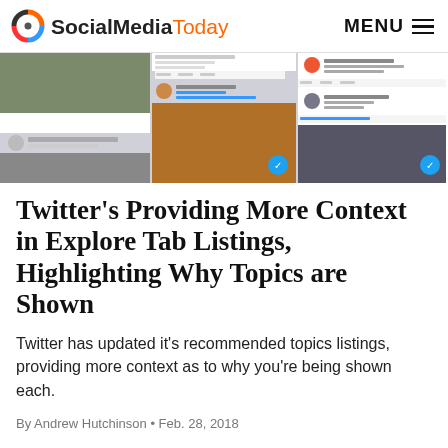SocialMediaToday | MENU
[Figure (screenshot): Twitter/social media app screenshot showing multiple tweets in a grid layout]
Twitter's Providing More Context in Explore Tab Listings, Highlighting Why Topics are Shown
Twitter has updated it's recommended topics listings, providing more context as to why you're being shown each.
By Andrew Hutchinson • Feb. 28, 2018